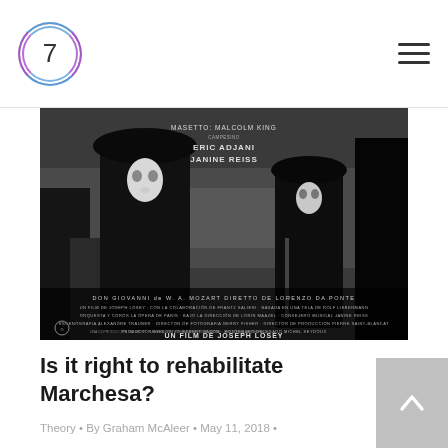7
[Figure (photo): Movie poster for Don Giovanni directed by Joseph Losey. Two figures in black cloaks and white masks standing in a misty landscape. Text on poster includes: MASETTO: MALCOLM KING CAMPESINO, ERIC ADJANI, JANINE REISS, DON GIOVANNI de W.A. MOZART, DIRETTO DE LORENZO DA PONTE, UN FILM DE JOSEPH LOSEY]
Is it right to rehabilitate Marchesa?
Theory • By Graham McAleer • May 11, 2018 •